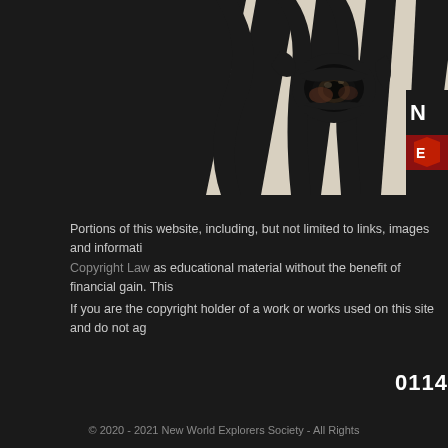[Figure (photo): Close-up photo of a zebra's eye surrounded by black and white stripes, cropped tightly showing the detailed eye and stripe pattern]
[Figure (logo): Partially visible logo with dark red/orange and dark elements on right edge]
Portions of this website, including, but not limited to links, images and informati... Copyright Law as educational material without the benefit of financial gain. This...
If you are the copyright holder of a work or works used on this site and do not ag...
0114
© 2020 - 2021 New World Explorers Society - All Rights